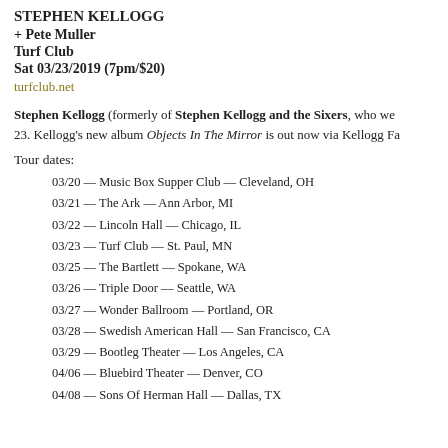STEPHEN KELLOGG
+ Pete Muller
Turf Club
Sat 03/23/2019 (7pm/$20)
turfclub.net
Stephen Kellogg (formerly of Stephen Kellogg and the Sixers, who we 23. Kellogg's new album Objects In The Mirror is out now via Kellogg Fa
Tour dates:
03/20 — Music Box Supper Club — Cleveland, OH
03/21 — The Ark — Ann Arbor, MI
03/22 — Lincoln Hall — Chicago, IL
03/23 — Turf Club — St. Paul, MN
03/25 — The Bartlett — Spokane, WA
03/26 — Triple Door — Seattle, WA
03/27 — Wonder Ballroom — Portland, OR
03/28 — Swedish American Hall — San Francisco, CA
03/29 — Bootleg Theater — Los Angeles, CA
04/06 — Bluebird Theater — Denver, CO
04/08 — Sons Of Herman Hall — Dallas, TX